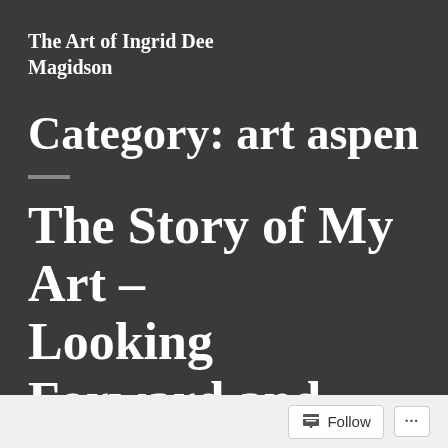The Art of Ingrid Dee Magidson
Category: art aspen
The Story of My Art – Looking Forward and Back
art aspen, Aspen, Eva Cellini, Ingrid Dee Magidson, Jay Magidson
Follow ...